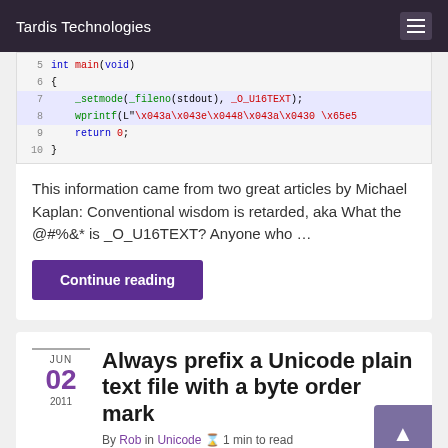Tardis Technologies
[Figure (screenshot): Code snippet showing C code lines 5-10 with syntax highlighting: int main(void), {, _setmode(_fileno(stdout), _O_U16TEXT);, wprintf(L"\x043a\x043e\x0448\x043a\x0430 \x65e5..., return 0;, }]
This information came from two great articles by Michael Kaplan: Conventional wisdom is retarded, aka What the @#%&* is _O_U16TEXT? Anyone who ...
Continue reading
Always prefix a Unicode plain text file with a byte order mark
By Rob in Unicode ⌛ 1 min to read
JUN 02 2011